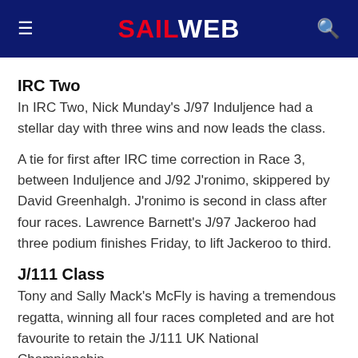SAILWEB
IRC Two
In IRC Two, Nick Munday's J/97 Induljence had a stellar day with three wins and now leads the class.
A tie for first after IRC time correction in Race 3, between Induljence and J/92 J'ronimo, skippered by David Greenhalgh. J'ronimo is second in class after four races. Lawrence Barnett's J/97 Jackeroo had three podium finishes Friday, to lift Jackeroo to third.
J/111 Class
Tony and Sally Mack's McFly is having a tremendous regatta, winning all four races completed and are hot favourite to retain the J/111 UK National Championship.
Chris Jones' Journeymaker II is in second place, just a point ahead of Paul Griffiths' Jagerbomb, which had two